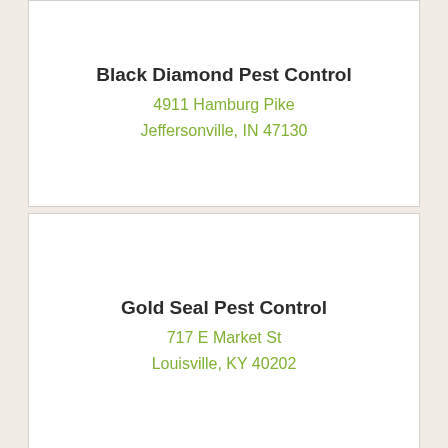Black Diamond Pest Control
4911 Hamburg Pike
Jeffersonville, IN 47130
Gold Seal Pest Control
717 E Market St
Louisville, KY 40202
Sturgeon Pest Control
612 E Broadway
Louisville, KY 40202
[Figure (illustration): Back to Top button: green circle with upward chevron arrow, text 'Back To Top' below]